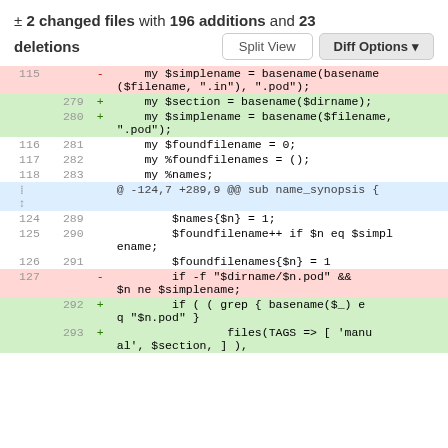± 2 changed files with 196 additions and 23 deletions
[Figure (screenshot): GitHub-style unified diff view showing code changes with line numbers, deletion (red), addition (green), and context lines in monospace font. Controls include Split View and Diff Options buttons.]